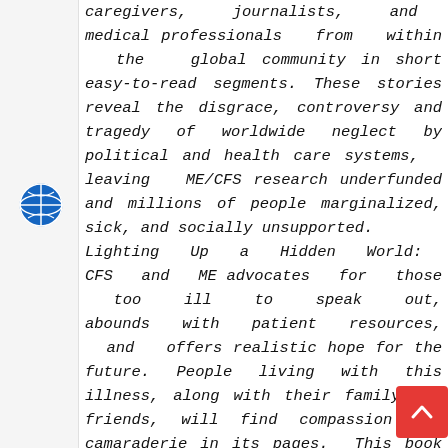[Figure (illustration): Blue circular globe/network icon on left sidebar]
caregivers, journalists, and medical professionals from within the global community in short easy-to-read segments. These stories reveal the disgrace, controversy and tragedy of worldwide neglect by political and health care systems, leaving ME/CFS research underfunded and millions of people marginalized, sick, and socially unsupported. Lighting Up a Hidden World: CFS and ME advocates for those too ill to speak out, abounds with patient resources, and offers realistic hope for the future. People living with this illness, along with their family and friends, will find compassion and camaraderie in its pages. This book reaches beyond the ME/CFS community exposing the themes of human suffering, illness, and loss from a global